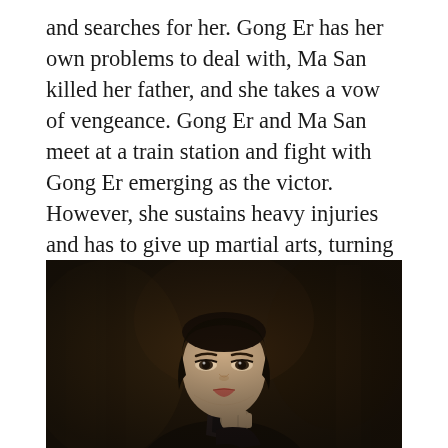and searches for her. Gong Er has her own problems to deal with, Ma San killed her father, and she takes a vow of vengeance. Gong Er and Ma San meet at a train station and fight with Gong Er emerging as the victor. However, she sustains heavy injuries and has to give up martial arts, turning to the opium pipe for pain relief. When Ip finally finds her, his heart breaks to hear her tale and see what has become of her. Gong Er is too far-gone to rekindle any romance or to carry on the legend of the 64 Hands. Ip returns to his school and continued to teach Wing Chun until his death in 1972.
[Figure (photo): A young Asian woman in period costume with her hair pulled back, looking directly at the camera with a composed expression, hand raised near chin, against a dark blurred background. Film still from The Grandmaster.]